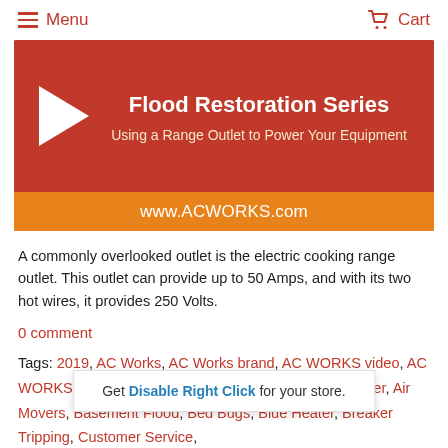Menu  Cart
[Figure (screenshot): Video thumbnail for Flood Restoration Series — Using a Range Outlet to Power Your Equipment. Red background with play button, white title text, and orange bar with www.ACWORKS.com]
A commonly overlooked outlet is the electric cooking range outlet. This outlet can provide up to 50 Amps, and with its two hot wires, it provides 250 Volts.
0 comment
Tags: 2019, AC Works, AC Works brand, AC WORKS video, AC WORKS Wisdom, AC WORKS Wisdom Series, Air Mover, Air Movers, Basement Flood, Bed Bugs, Blue Heater, Breaker Tripping, Customer Service, Daisy Chain, D... Extension Cor... [continues]
Get Disable Right Click for your store.